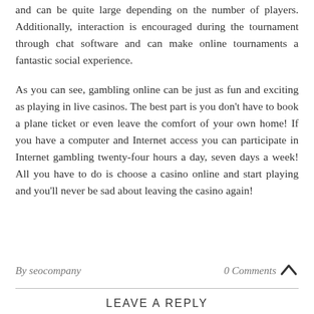and can be quite large depending on the number of players. Additionally, interaction is encouraged during the tournament through chat software and can make online tournaments a fantastic social experience.
As you can see, gambling online can be just as fun and exciting as playing in live casinos. The best part is you don't have to book a plane ticket or even leave the comfort of your own home! If you have a computer and Internet access you can participate in Internet gambling twenty-four hours a day, seven days a week! All you have to do is choose a casino online and start playing and you'll never be sad about leaving the casino again!
By seocompany
0 Comments
LEAVE A REPLY